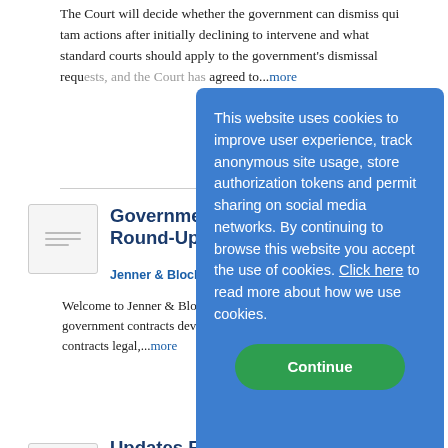The Court will decide whether the government can dismiss qui tam actions after initially declining to intervene and what standard courts should apply to the government's dismissal requ... agreed to...more
[Figure (other): Thumbnail image placeholder for article with horizontal lines]
Government Co... Round-Up | 2022...
Jenner & Block on 7/12/2023...
Welcome to Jenner & Block... Legal Round-Up, a biweekly... government contracts devel... brief summaries of key deve... contracts legal,...more
[Figure (logo): Small logo thumbnail for second article]
Updates From A... Forum on False C... Tam Enforcement, June 22-23 in New York...
This website uses cookies to improve user experience, track anonymous site usage, store authorization tokens and permit sharing on social media networks. By continuing to browse this website you accept the use of cookies. Click here to read more about how we use cookies.